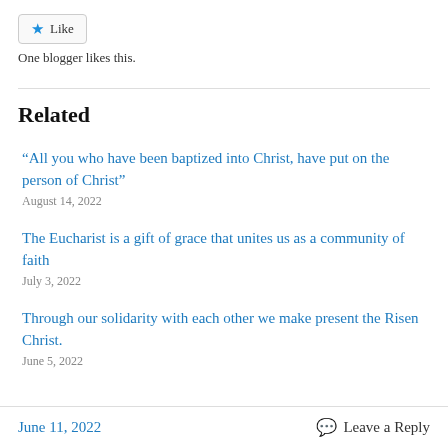[Figure (other): Like button with star icon]
One blogger likes this.
Related
“All you who have been baptized into Christ, have put on the person of Christ”
August 14, 2022
The Eucharist is a gift of grace that unites us as a community of faith
July 3, 2022
Through our solidarity with each other we make present the Risen Christ.
June 5, 2022
June 11, 2022   Leave a Reply